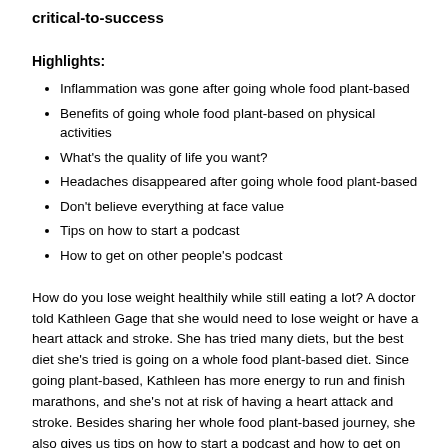critical-to-success
Highlights:
Inflammation was gone after going whole food plant-based
Benefits of going whole food plant-based on physical activities
What's the quality of life you want?
Headaches disappeared after going whole food plant-based
Don't believe everything at face value
Tips on how to start a podcast
How to get on other people's podcast
How do you lose weight healthily while still eating a lot? A doctor told Kathleen Gage that she would need to lose weight or have a heart attack and stroke. She has tried many diets, but the best diet she's tried is going on a whole food plant-based diet. Since going plant-based, Kathleen has more energy to run and finish marathons, and she's not at risk of having a heart attack and stroke. Besides sharing her whole food plant-based journey, she also gives us tips on how to start a podcast and how to get on other people's podcasts.
Intro: